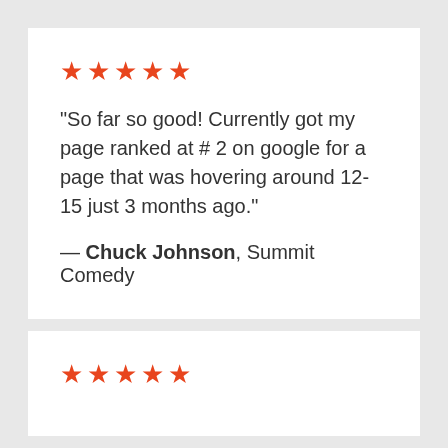★★★★★
"So far so good! Currently got my page ranked at # 2 on google for a page that was hovering around 12-15 just 3 months ago."
— Chuck Johnson, Summit Comedy
★★★★★